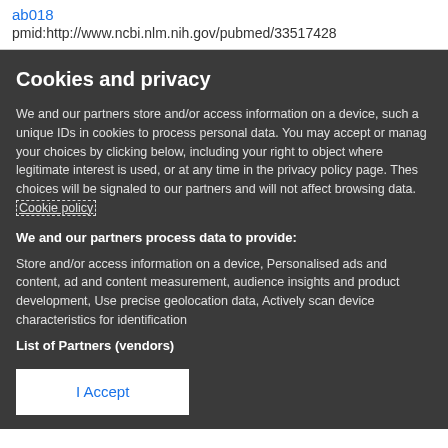ab018
pmid:http://www.ncbi.nlm.nih.gov/pubmed/33517428
Cookies and privacy
We and our partners store and/or access information on a device, such a unique IDs in cookies to process personal data. You may accept or manage your choices by clicking below, including your right to object where legitimate interest is used, or at any time in the privacy policy page. These choices will be signaled to our partners and will not affect browsing data. Cookie policy
We and our partners process data to provide:
Store and/or access information on a device, Personalised ads and content, ad and content measurement, audience insights and product development, Use precise geolocation data, Actively scan device characteristics for identification
List of Partners (vendors)
I Accept